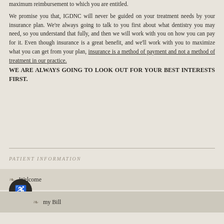maximum reimbursement to which you are entitled. We promise you that, IGDNC will never be guided on your treatment needs by your insurance plan. We're always going to talk to you first about what dentistry you may need, so you understand that fully, and then we will work with you on how you can pay for it. Even though insurance is a great benefit, and we'll work with you to maximize what you can get from your plan, insurance is a method of payment and not a method of treatment in our practice.
WE ARE ALWAYS GOING TO LOOK OUT FOR YOUR BEST INTERESTS FIRST.
PATIENT INFORMATION
Welcome
my Bill